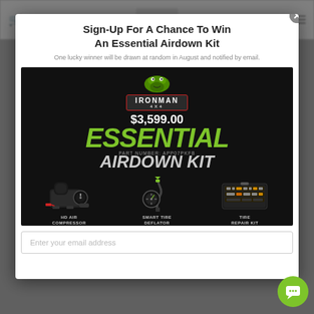Sign-Up For A Chance To Win An Essential Airdown Kit
One lucky winner will be drawn at random in August and notified by email.
[Figure (photo): Ironman 4x4 Essential Airdown Kit promotional banner showing HD Air Compressor, Smart Tire Deflator, and Tire Repair Kit on a dark background with green ESSENTIAL AIRDOWN KIT text]
Enter your email address